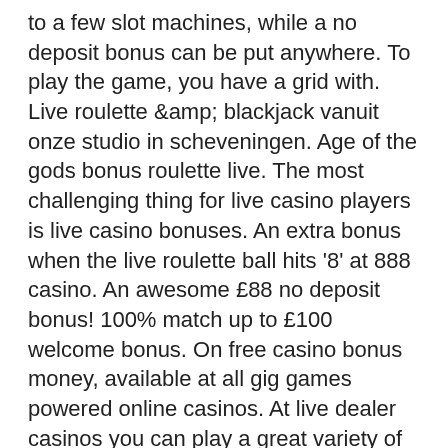to a few slot machines, while a no deposit bonus can be put anywhere. To play the game, you have a grid with. Live roulette &amp; blackjack vanuit onze studio in scheveningen. Age of the gods bonus roulette live. The most challenging thing for live casino players is live casino bonuses. An extra bonus when the live roulette ball hits '8' at 888 casino. An awesome £88 no deposit bonus! 100% match up to £100 welcome bonus. On free casino bonus money, available at all gig games powered online casinos. At live dealer casinos you can play a great variety of games such as: blackjack; video poker; roulette; texas holdem poker. 100% bonus up to €300 and 20 free spins* ; casumo live blackjack. Blackjack ; live casino roulette. Roulette ; live casino baccarat. Baccarat ; live casino game
For each no deposit casino bonus we include step by step tutorial how to claim the no deposit bonus. popular las vegas casino